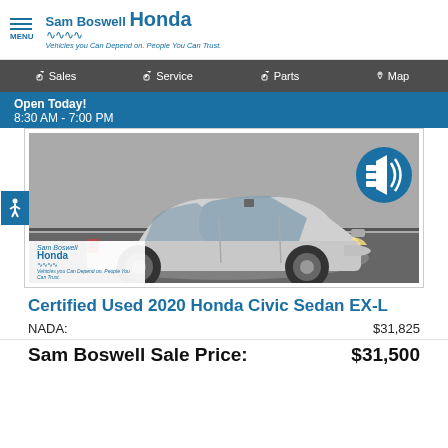Sam Boswell Honda — Vehicles you Can Depend on. People You Can Trust.
Sales  Service  Parts  Map
Open Today!
8:30 AM - 7:00 PM
[Figure (photo): Silver 2020 Honda Civic Sedan EX-L shown from front-left angle in a showroom setting. Sam Boswell Honda logo appears in bottom left of image. Blue sound icon in top right corner. Blue accessibility icon on left edge.]
Certified Used 2020 Honda Civic Sedan EX-L
NADA:	$31,825
Sam Boswell Sale Price:	$31,500